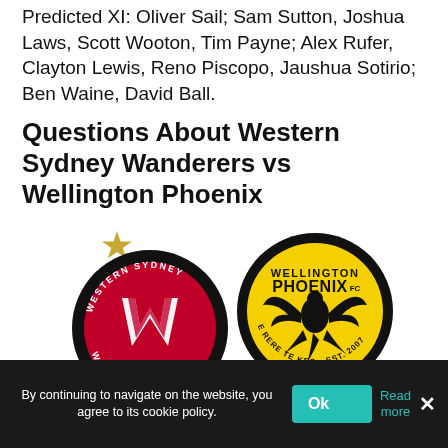Predicted XI: Oliver Sail; Sam Sutton, Joshua Laws, Scott Wooton, Tim Payne; Alex Rufer, Clayton Lewis, Reno Piscopo, Jaushua Sotirio; Ben Waine, David Ball.
Questions About Western Sydney Wanderers vs Wellington Phoenix
[Figure (logo): Two football club logos side by side: Western Sydney Wanderers FC (black circle, red background with white W logo) on the left with a gold star above, and Wellington Phoenix FC (yellow circle with black phoenix bird and text WELLINGTON PHOENIX FC, E RERE TE KEO • EST. 2007) on the right.]
By continuing to navigate on the website, you agree to its cookie policy.